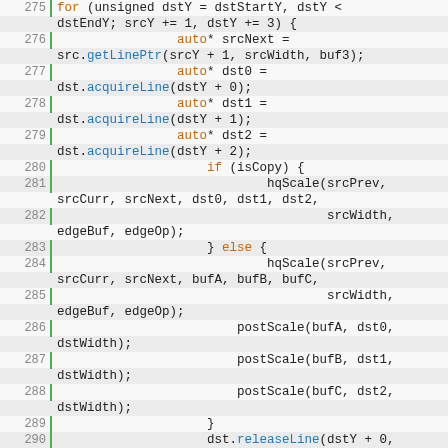[Figure (screenshot): Source code listing showing C++ code lines 275-294, a code editor view with line numbers, syntax highlighting in green/orange/blue on a light gray background.]